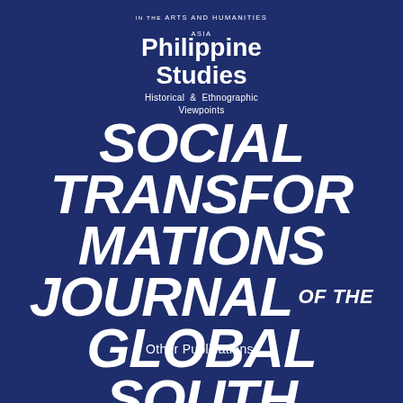IN THE ARTS AND HUMANITIES
ASIA
Philippine Studies
Historical & Ethnographic Viewpoints
SOCIAL TRANSFORMATIONS JOURNAL OF THE GLOBAL SOUTH
Other Publications: